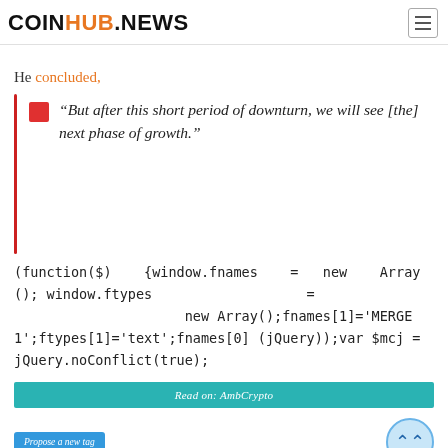COINHUB.NEWS
He concluded,
“But after this short period of downturn, we will see [the] next phase of growth.”
(function($) {window.fnames = new Array(); window.ftypes = new Array();fnames[1]='MERGE1';ftypes[1]='text';fnames[0] (jQuery));var $mcj = jQuery.noConflict(true);
Read on: AmbCrypto
Propose a new tag
Hotness: 4